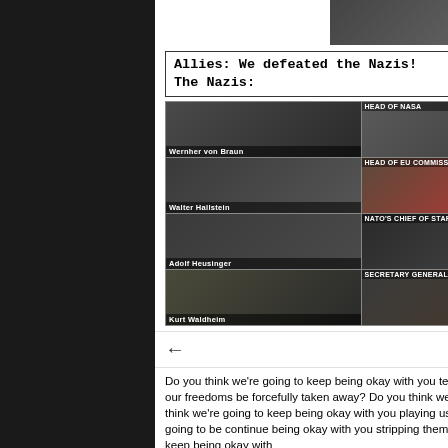[Figure (photo): Black and white historical photo at top]
Allies: We defeated the Nazis!
The Nazis:
[Figure (photo): 2x4 grid of black and white photos of Nazi figures with captions: Wernher von Braun / HEAD OF NASA, Walter Hallstein / HEAD OF EU COMMISSION, Adolf Heusinger / NATO'S CHIEF OF STAFF, Kurt Waldheim / SECRETARY GENERAL OF THE UNITED NATIONS]
Barefoot Five
Do you think we're going to keep being okay with you telling us shit that doesn't make any sense? Do you think we're going to be okay with our freedoms be forcefully taken away? Do you think we're going to continue to be okay with you manipulating the shit out of us? Do you think we're going to keep being okay with you playing us against each other to better the games you're playing? Do you think everyone is just going to be continue being okay with you stripping them of their ability to provide for and protect their families? Do you think we're going to keep being okay with